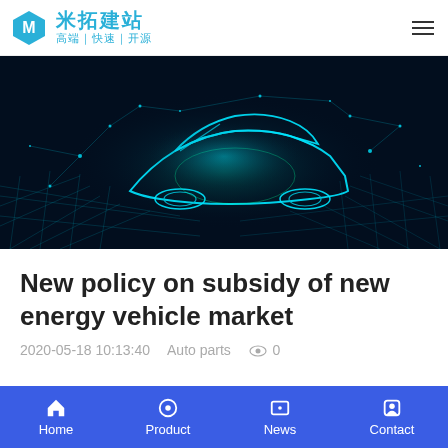米拓建站 高端 | 快速 | 开源
[Figure (photo): Dark blue digital/futuristic glowing wireframe car surrounded by network nodes and light particles on a dark background]
New policy on subsidy of new energy vehicle market
2020-05-18 10:13:40   Auto parts   👁 0
Home   Product   News   Contact